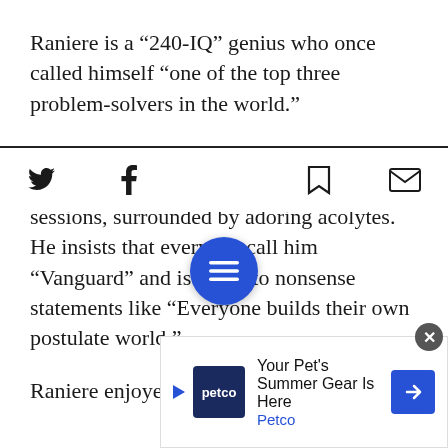Raniere is a “240-IQ” genius who once called himself “one of the top three problem-solvers in the world.”
Bizarrely, he likes to hold court – quite literally – during regular volleyball sessions, surrounded by adoring acolytes. He insists that everyone call him “Vanguard” and is prone to nonsense statements like “Everyone builds their own postulate world.”
Raniere enjoyed relati…hips with multiple
[Figure (screenshot): Bottom toolbar with Twitter, Facebook, menu (blue circle), bookmark, and email icons; Petco advertisement banner at bottom]